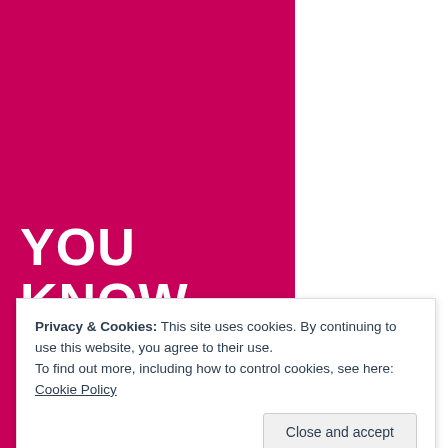[Figure (illustration): Magenta/pink background covering left portion of the page with large white handwritten-style uppercase text reading 'YOU KNOW' and partial text below (cropped)]
Privacy & Cookies: This site uses cookies. By continuing to use this website, you agree to their use.
To find out more, including how to control cookies, see here: Cookie Policy
Close and accept